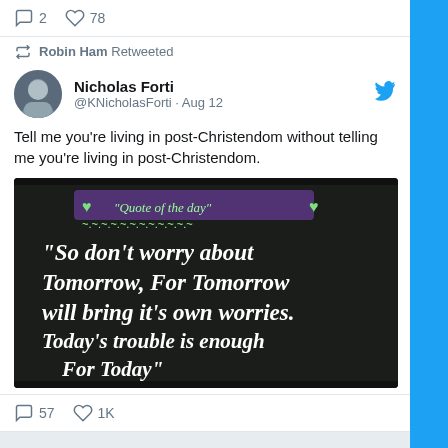2  78
Robin Ham Retweeted
Nicholas Forti @KNicholasForti · Aug 12
Tell me you're living in post-Christendom without telling me you're living in post-Christendom.
[Figure (photo): A chalkboard showing the text: "Quote of the day" with green hearts and squiggly lines, followed by: "So don't worry about Tomorrow, For Tomorrow will bring it's own worries. Today's trouble is enough For Today"]
57  1K